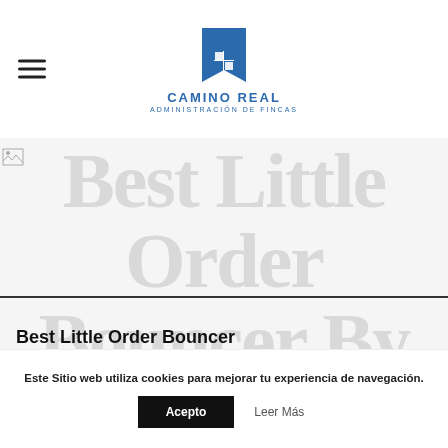[Figure (logo): Camino Real Administración de Fincas logo — blue bookmark/house icon with four-pane window, text CAMINO REAL above ADMINISTRACIÓN DE FINCAS]
[Figure (photo): Large ghost/overlay text reading 'Best Little Order Bouncer By 2021' in large light gray serif font overlaid on a light gray background, with a smaller broken image icon in the top left]
Best Little Order Bouncer By 2021
So, a conveyable young child cerebrovascular accident or cva is really a
Este Sitio web utiliza cookies para mejorar tu experiencia de navegación.
Acepto
Leer Más